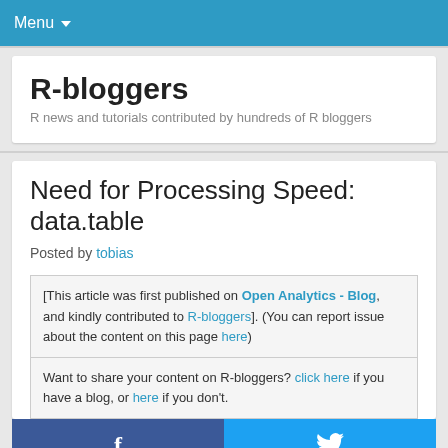Menu
R-bloggers
R news and tutorials contributed by hundreds of R bloggers
Need for Processing Speed: data.table
Posted by tobias
[This article was first published on Open Analytics - Blog, and kindly contributed to R-bloggers]. (You can report issue about the content on this page here)
Want to share your content on R-bloggers? click here if you have a blog, or here if you don't.
Monday 30 March 2015 – 15:05
The first thing I discovered  about data.table is that it always sorts with